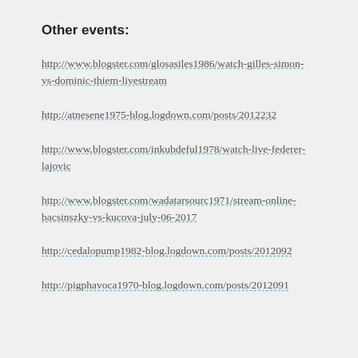Other events:
http://www.blogster.com/glosasiles1986/watch-gilles-simon-vs-dominic-thiem-livestream
http://atnesene1975-blog.logdown.com/posts/2012232
http://www.blogster.com/inkubdeful1978/watch-live-federer-lajovic
http://www.blogster.com/wadatarsourc1971/stream-online-bacsinszky-vs-kucova-july-06-2017
http://cedalopump1982-blog.logdown.com/posts/2012092
http://pigphavoca1970-blog.logdown.com/posts/2012091